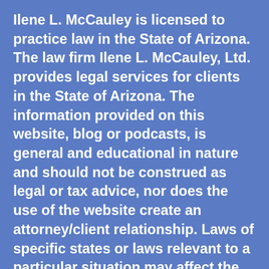Ilene L. McCauley is licensed to practice law in the State of Arizona. The law firm Ilene L. McCauley, Ltd. provides legal services for clients in the State of Arizona. The information provided on this website, blog or podcasts, is general and educational in nature and should not be construed as legal or tax advice, nor does the use of the website create an attorney/client relationship. Laws of specific states or laws relevant to a particular situation may affect the applicability, accuracy, or completeness of this information which cannot take the place of one-on-one personal legal consultation and advice. Federal and state laws and regulations are complex and subject to change. No legal representation is created, and we make no warranties with regard to the information or results obtained by its use. Neither the authors nor anyone forwarding or reproducing this work